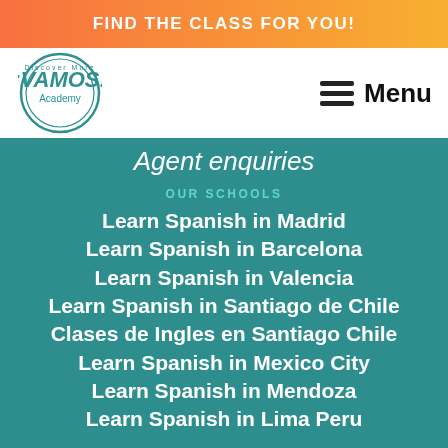FIND THE CLASS FOR YOU!
[Figure (logo): ¡VAMOS! Academy circular logo with text 'Discover More' around the border]
Menu
Agent enquiries
OUR SCHOOLS
Learn Spanish in Madrid
Learn Spanish in Barcelona
Learn Spanish in Valencia
Learn Spanish in Santiago de Chile
Clases de Ingles en Santiago Chile
Learn Spanish in Mexico City
Learn Spanish in Mendoza
Learn Spanish in Lima Peru